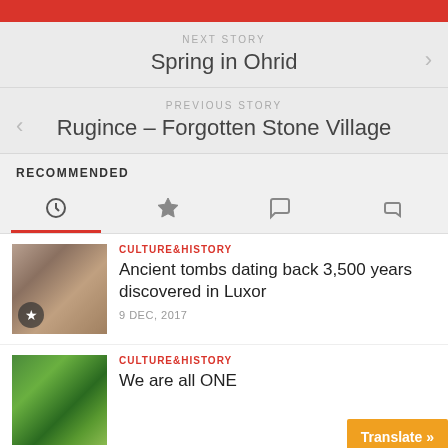NEXT STORY
Spring in Ohrid
PREVIOUS STORY
Rugince – Forgotten Stone Village
RECOMMENDED
[Figure (other): Tab icons row: clock, star, speech bubble, tag]
CULTURE&HISTORY
Ancient tombs dating back 3,500 years discovered in Luxor
9 DEC, 2017
CULTURE&HISTORY
We are all ONE